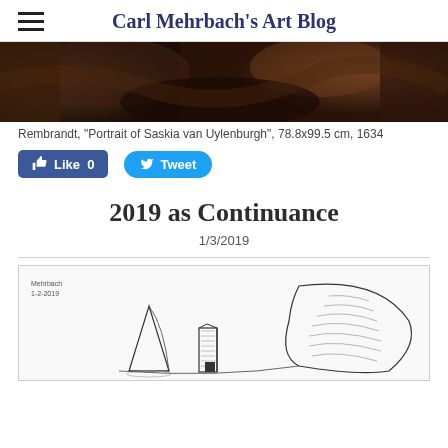Carl Mehrbach's Art Blog
[Figure (photo): Partial view of Rembrandt painting, dark tones with brown and red hues, cropped at top]
Rembrandt, "Portrait of Saskia van Uylenburgh", 78.8x99.5 cm, 1634
[Figure (other): Facebook Like button (0 likes) and Twitter Tweet button]
2019 as Continuance
1/3/2019
[Figure (illustration): Pencil sketch drawing showing abstract sculptural forms, signed Mehrbach 1-2-2019]